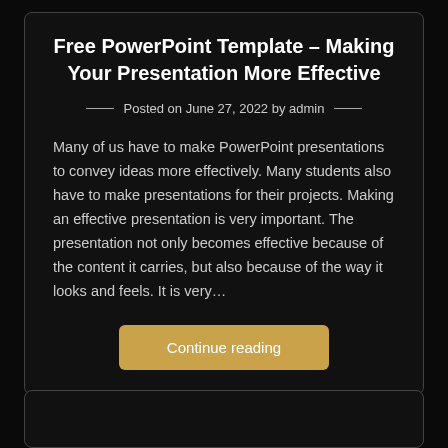Free PowerPoint Template – Making Your Presentation More Effective
Posted on June 27, 2022 by admin
Many of us have to make PowerPoint presentations to convey ideas more effectively. Many students also have to make presentations for their projects. Making an effective presentation is very important. The presentation not only becomes effective because of the content it carries, but also because of the way it looks and feels. It is very…
Continue reading